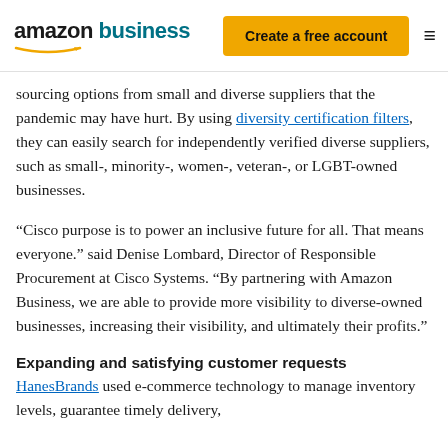amazon business | Create a free account
sourcing options from small and diverse suppliers that the pandemic may have hurt. By using diversity certification filters, they can easily search for independently verified diverse suppliers, such as small-, minority-, women-, veteran-, or LGBT-owned businesses.
“Cisco purpose is to power an inclusive future for all. That means everyone.” said Denise Lombard, Director of Responsible Procurement at Cisco Systems. “By partnering with Amazon Business, we are able to provide more visibility to diverse-owned businesses, increasing their visibility, and ultimately their profits.”
Expanding and satisfying customer requests
HanesBrands used e-commerce technology to manage inventory levels, guarantee timely delivery,